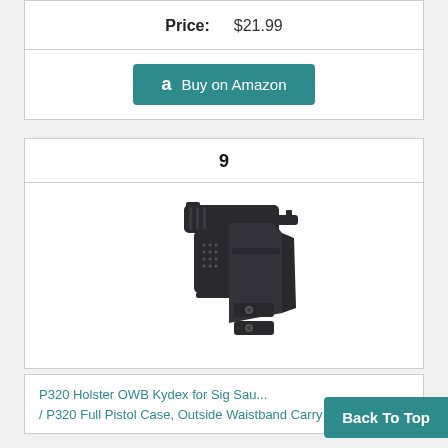| Price: | $21.99 |
| --- | --- |
[Figure (other): Buy on Amazon button with Amazon logo]
9
[Figure (photo): P320 Holster OWB Kydex for Sig Sauer pistol holster product photo showing a black Kydex OWB holster with a handgun inserted]
P320 Holster OWB Kydex for Sig Sau... / P320 Full Pistol Case, Outside Waistband Carry
Back To Top